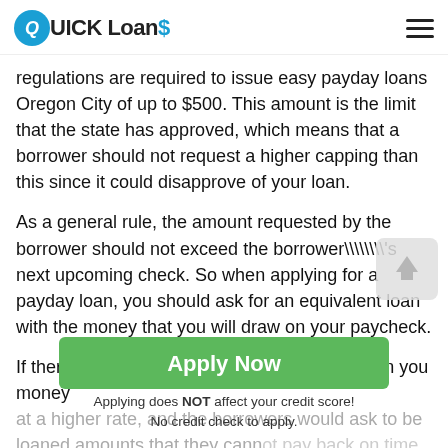QUICK Loans
regulations are required to issue easy payday loans Oregon City of up to $500. This amount is the limit that the state has approved, which means that a borrower should not request a higher capping than this since it could disapprove of your loan.
As a general rule, the amount requested by the borrower should not exceed the borrower\\\\'s next upcoming check. So when applying for a payday loan, you should ask for an equivalent loan with the money that you will draw on your paycheck.
If there were no regulations, lenders would loan you money at a higher rate, and the borrowers would ask to be loaned amounts that they cannot pay back on time or even pay altogether. You are not eligible for another loan after two successful re...
& cooling period which means you must wait...
[Figure (other): Green Apply Now button with subtext: Applying does NOT affect your credit score! No credit check to apply.]